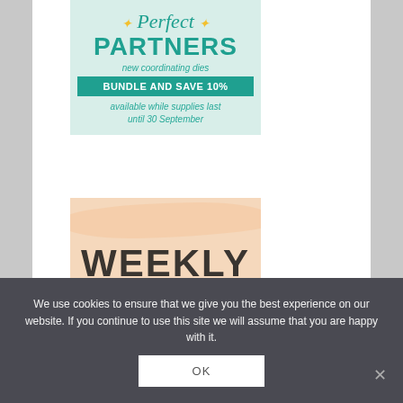[Figure (infographic): Perfect Partners promotional card on light teal background. Script text 'Perfect' with yellow sparkle decorations, bold teal block text 'PARTNERS', italic text 'new coordinating dies', teal banner with white bold text 'BUNDLE AND SAVE 10%', italic teal text 'available while supplies last until 30 September'.]
[Figure (infographic): Weekly promotional card on peach/salmon background with a brush stroke paint element and large bold dark text 'WEEKLY'.]
We use cookies to ensure that we give you the best experience on our website. If you continue to use this site we will assume that you are happy with it.
OK